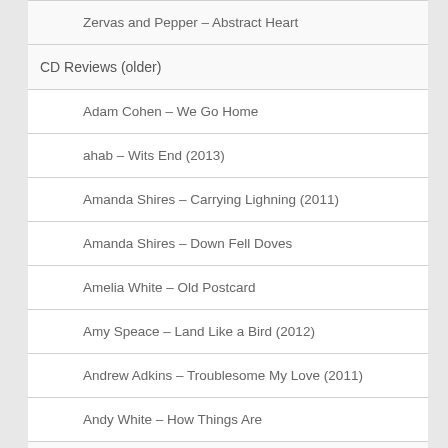Zervas and Pepper – Abstract Heart
CD Reviews (older)
Adam Cohen – We Go Home
ahab – Wits End (2013)
Amanda Shires – Carrying Lighning (2011)
Amanda Shires – Down Fell Doves
Amelia White – Old Postcard
Amy Speace – Land Like a Bird (2012)
Andrew Adkins – Troublesome My Love (2011)
Andy White – How Things Are